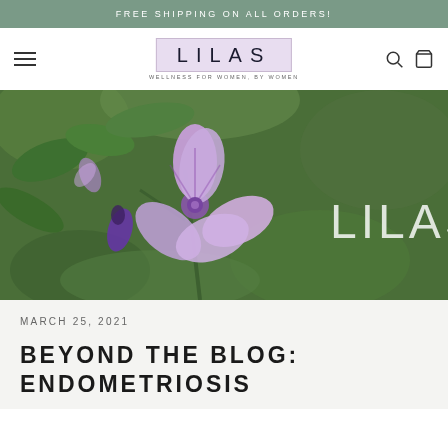FREE SHIPPING ON ALL ORDERS!
[Figure (logo): LILAS brand logo with tagline WELLNESS FOR WOMEN, BY WOMEN in a purple-tinted box, flanked by hamburger menu icon and search/cart icons]
[Figure (photo): Close-up photo of purple mallow flowers with green leaves background, with LILAS text overlay in white on the right side]
MARCH 25, 2021
BEYOND THE BLOG: ENDOMETRIOSIS